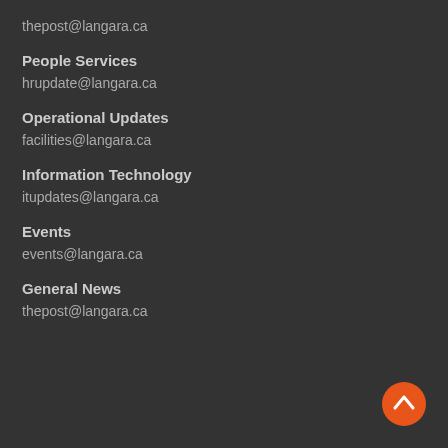thepost@langara.ca
People Services
hrupdate@langara.ca
Operational Updates
facilities@langara.ca
Information Technology
itupdates@langara.ca
Events
events@langara.ca
General News
thepost@langara.ca
[Figure (illustration): Orange circular back-to-top button with upward chevron arrow in bottom right corner]